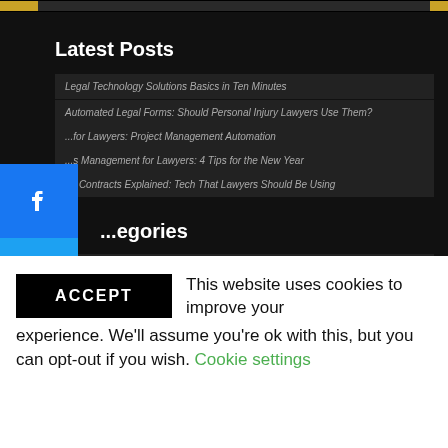Latest Posts
Legal Technology Solutions Basics in Ten Minutes
Automated Legal Forms: Should Personal Injury Lawyers Use Them?
...for Lawyers: Project Management Automation
...s Management for Lawyers: 4 Tips for the New Year
...t Contracts Explained: Tech That Lawyers Should Be Using
...egories
...s
...orney
...ence
...nce
...
How To